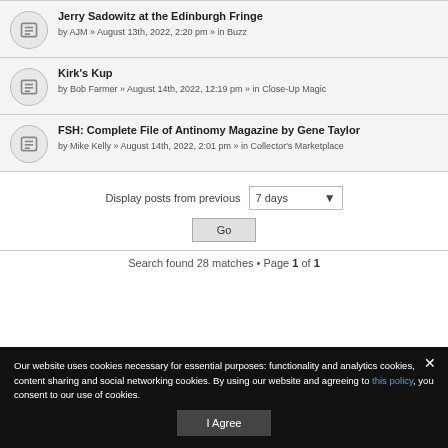Jerry Sadowitz at the Edinburgh Fringe
by AJM » August 13th, 2022, 2:20 pm » in Buzz
Kirk's Kup
by Bob Farmer » August 14th, 2022, 12:19 pm » in Close-Up Magic
FSH: Complete File of Antinomy Magazine by Gene Taylor
by Mike Kelly » August 14th, 2022, 2:01 pm » in Collector's Marketplace
Display posts from previous 7 days
Go
Search found 28 matches • Page 1 of 1
Our website uses cookies necessary for essential purposes: functionality and analytics cookies, content sharing and social networking cookies. By using our website and agreeing to this policy, you consent to our use of cookies.
I Agree